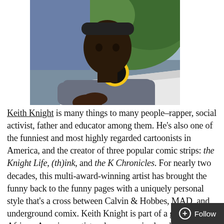[Figure (photo): Photo of Keith Knight, a Black man wearing a grey sweatshirt with a yellow and black circular logo (BVB Borussia Dortmund), sitting at a white table with his hands clasped, outdoors with green foliage in background.]
Keith Knight is many things to many people–rapper, social activist, father and educator among them. He's also one of the funniest and most highly regarded cartoonists in America, and the creator of three popular comic strips: the Knight Life, (th)ink, and the K Chronicles. For nearly two decades, this multi-award-winning artist has brought the funny back to the funny pages with a uniquely personal style that's a cross between Calvin & Hobbes, MAD, and underground comix. Keith Knight is part of a generation of African-American artists who were raised on hip